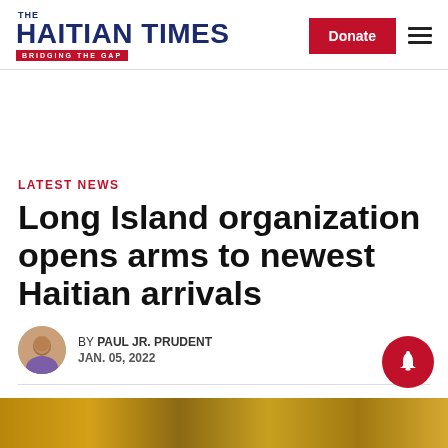THE HAITIAN TIMES — BRIDGING THE GAP
LATEST NEWS
Long Island organization opens arms to newest Haitian arrivals
BY PAUL JR. PRUDENT
JAN. 05, 2022